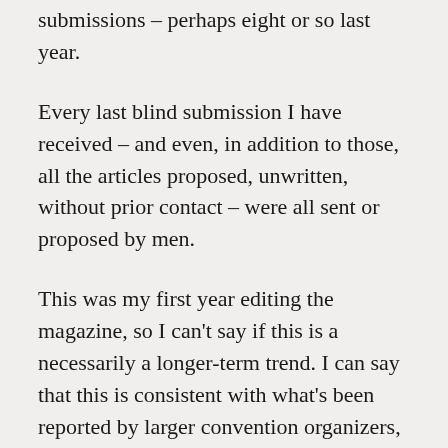submissions – perhaps eight or so last year.
Every last blind submission I have received – and even, in addition to those, all the articles proposed, unwritten, without prior contact – were all sent or proposed by men.
This was my first year editing the magazine, so I can't say if this is a necessarily a longer-term trend. I can say that this is consistent with what's been reported by larger convention organizers, that men are more likely to put themselves forward, rather than waiting for an invitation.
Don't get me wrong – I appreciate the blind submissions just as much as I appreciate all the